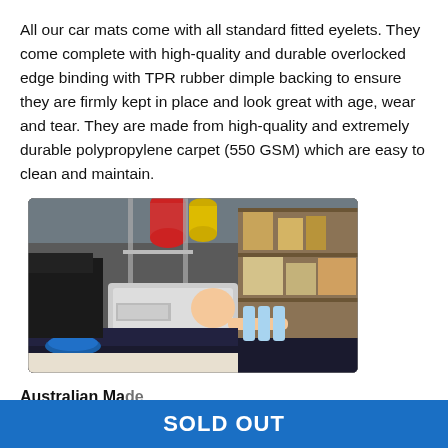All our car mats come with all standard fitted eyelets. They come complete with high-quality and durable overlocked edge binding with TPR rubber dimple backing to ensure they are firmly kept in place and look great with age, wear and tear. They are made from high-quality and extremely durable polypropylene carpet (550 GSM) which are easy to clean and maintain.
[Figure (photo): Workshop photo showing a person operating a large industrial sewing/binding machine at a workbench, with shelves of supplies (spools of thread, water bottles, boxes) visible in the background. A blue circular item and dark car mat material are on the bench.]
Australian Made
SOLD OUT